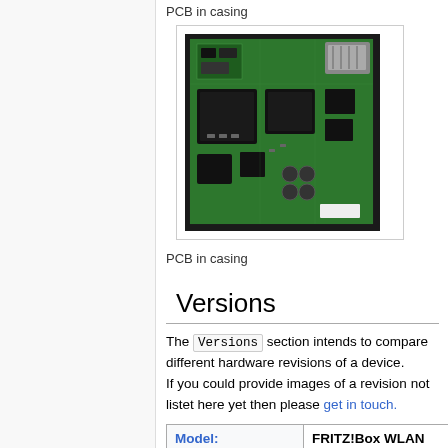PCB in casing
[Figure (photo): Photo of a green PCB (printed circuit board) with chips and components, shown inside a dark casing]
PCB in casing
Versions
The Versions section intends to compare different hardware revisions of a device. If you could provide images of a revision not listet here yet then please get in touch.
| Model: | FRITZ!Box WLAN 3270 #2000 |
| --- | --- |
| Vendor: | AVM |
| Part-Nr: | 2000-2425 |